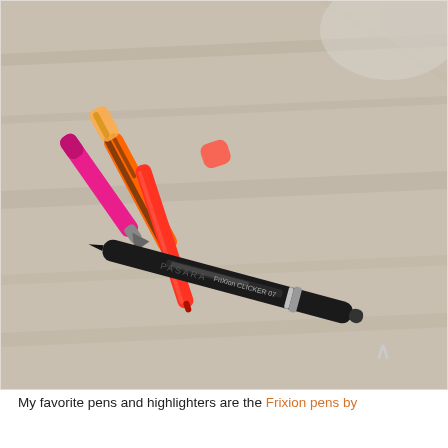[Figure (photo): A photo of several pens and highlighters laid on a wooden surface. The pens include a bright pink marker, an orange-and-black patterned highlighter, a red/orange Frixion pen, a coral/red pen, and a black Frixion clicker pen (labeled 'FriXion CLICKER 07') prominently in the foreground. An upward-pointing caret/arrow symbol is visible in the lower right of the image.]
My favorite pens and highlighters are the Frixion pens by